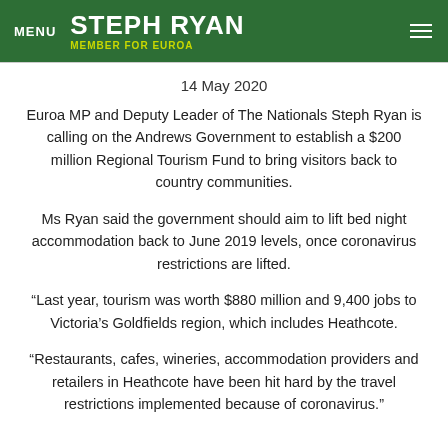MENU STEPH RYAN MEMBER FOR EUROA
14 May 2020
Euroa MP and Deputy Leader of The Nationals Steph Ryan is calling on the Andrews Government to establish a $200 million Regional Tourism Fund to bring visitors back to country communities.
Ms Ryan said the government should aim to lift bed night accommodation back to June 2019 levels, once coronavirus restrictions are lifted.
“Last year, tourism was worth $880 million and 9,400 jobs to Victoria’s Goldfields region, which includes Heathcote.
“Restaurants, cafes, wineries, accommodation providers and retailers in Heathcote have been hit hard by the travel restrictions implemented because of coronavirus.”